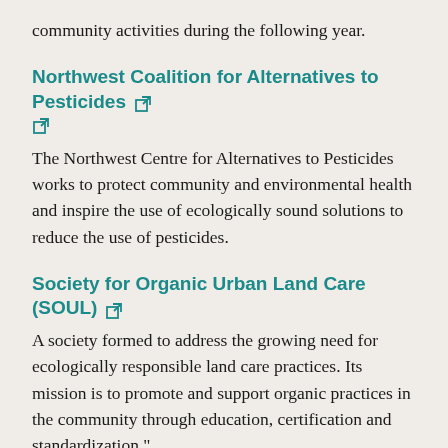community activities during the following year.
Northwest Coalition for Alternatives to Pesticides
The Northwest Centre for Alternatives to Pesticides works to protect community and environmental health and inspire the use of ecologically sound solutions to reduce the use of pesticides.
Society for Organic Urban Land Care (SOUL)
A society formed to address the growing need for ecologically responsible land care practices. Its mission is to promote and support organic practices in the community through education, certification and standardization."
Certified Organic Associations of British Columbia